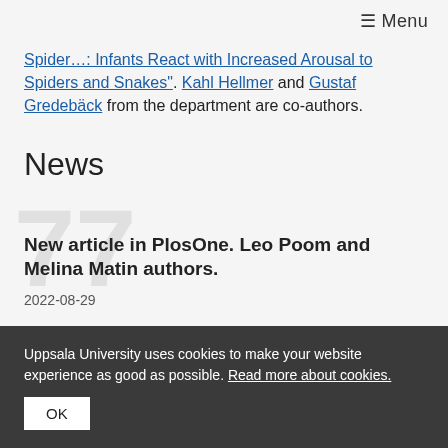≡ Menu
Spider…: Infants React with Increased Arousal to Spiders and Snakes". Kahl Hellmer and Gustaf Gredebäck from the department are co-authors.
News
New article in PlosOne. Leo Poom and Melina Matin authors.
2022-08-29
Uppsala University uses cookies to make your website experience as good as possible. Read more about cookies.